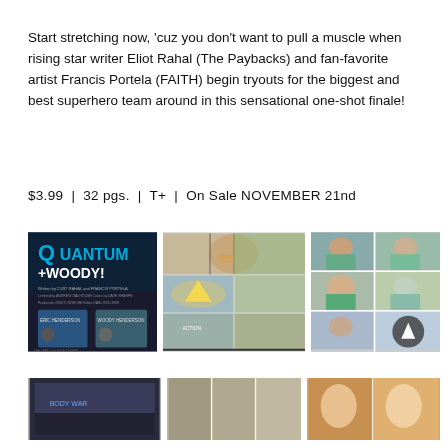Start stretching now, 'cuz you don't want to pull a muscle when rising star writer Eliot Rahal (The Paybacks) and fan-favorite artist Francis Portela (FAITH) begin tryouts for the biggest and best superhero team around in this sensational one-shot finale!
$3.99 | 32 pgs. | T+ | On Sale NOVEMBER 21nd
[Figure (illustration): Quantum and Woody comic book cover showing the Quantum+Woody! logo and creative credits]
[Figure (illustration): Interior comic pages showing characters in medical/lab setting, with caption 'NO MATTER WHAT THE COST!']
[Figure (illustration): Interior comic pages showing characters in hospital/medical setting]
[Figure (illustration): Partial bottom strip of comic pages]
[Figure (illustration): Partial bottom strip of comic pages]
[Figure (illustration): Partial bottom strip of comic pages]